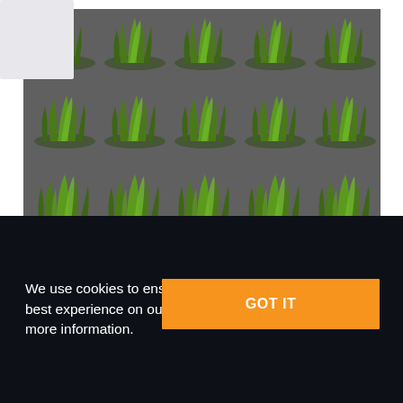[Figure (illustration): A tiled texture sheet showing multiple grass sprites arranged in a grid on a dark gray background. Each cell shows green grass tufts against a gray background. A light gray card is partially visible in the top-left corner.]
The texture is 4-channeled (RGBA):
The RGB values store grass color information
We use cookies to ensure that we give you the best experience on our website. Click here for more information.
GOT IT